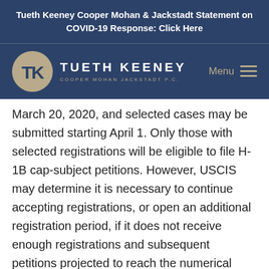Tueth Keeney Cooper Mohan & Jackstadt Statement on COVID-19 Response: Click Here
[Figure (logo): Tueth Keeney Cooper Mohan Jackstadt P.C. law firm logo with circular TK monogram emblem and firm name in white text on dark navy background, with Menu navigation icon]
March 20, 2020, and selected cases may be submitted starting April 1. Only those with selected registrations will be eligible to file H-1B cap-subject petitions. However, USCIS may determine it is necessary to continue accepting registrations, or open an additional registration period, if it does not receive enough registrations and subsequent petitions projected to reach the numerical allocations.